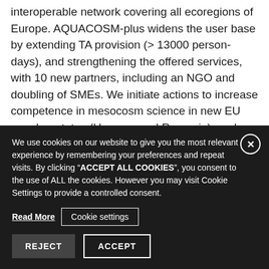interoperable network covering all ecoregions of Europe. AQUACOSM-plus widens the user base by extending TA provision (> 13000 person-days), and strengthening the offered services, with 10 new partners, including an NGO and doubling of SMEs. We initiate actions to increase competence in mesocosm science in new EU member states (Hungary and Romania), and emphasize training of young scientists through summer schools covering various disciplines including effective science communication. AQUACOSM-plus develops near-real-time Open Data flows and improved metadata, thus promoting Open
We use cookies on our website to give you the most relevant experience by remembering your preferences and repeat visits. By clicking "ACCEPT ALL COOKIES", you consent to the use of ALL the cookies. However you may visit Cookie Settings to provide a controlled consent. Read More | Cookie settings | REJECT | ACCEPT